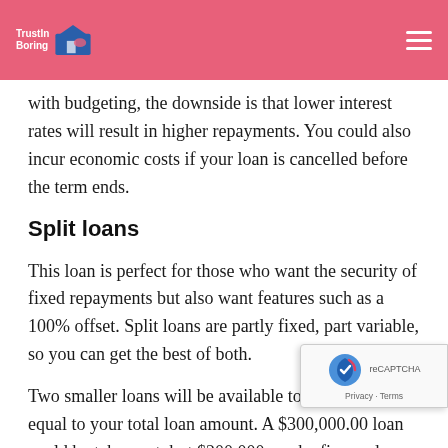TrustInBoring [logo]
with budgeting, the downside is that lower interest rates will result in higher repayments. You could also incur economic costs if your loan is cancelled before the term ends.
Split loans
This loan is perfect for those who want the security of fixed repayments but also want features such as a 100% offset. Split loans are partly fixed, part variable, so you can get the best of both.
Two smaller loans will be available to you that is equal to your total loan amount. A $300,000.00 loan could be taken out, but $200,000 can be fi… and $100,000 will remain variable. You'll be mo… financially secure if interest rates rise than if you…